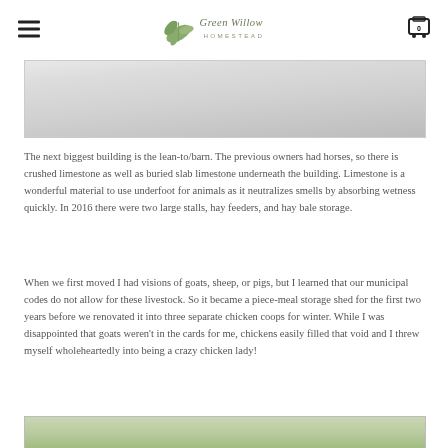Green Willow Homestead
[Figure (photo): Partial view of a barn or building interior, light colored background, top of image cut off]
The next biggest building is the lean-to/barn. The previous owners had horses, so there is crushed limestone as well as buried slab limestone underneath the building. Limestone is a wonderful material to use underfoot for animals as it neutralizes smells by absorbing wetness quickly. In 2016 there were two large stalls, hay feeders, and hay bale storage.
When we first moved I had visions of goats, sheep, or pigs, but I learned that our municipal codes do not allow for these livestock. So it became a piece-meal storage shed for the first two years before we renovated it into three separate chicken coops for winter. While I was disappointed that goats weren't in the cards for me, chickens easily filled that void and I threw myself wholeheartedly into being a crazy chicken lady!
[Figure (photo): Bottom portion of an outdoor scene with greenery, chickens or animals partially visible]